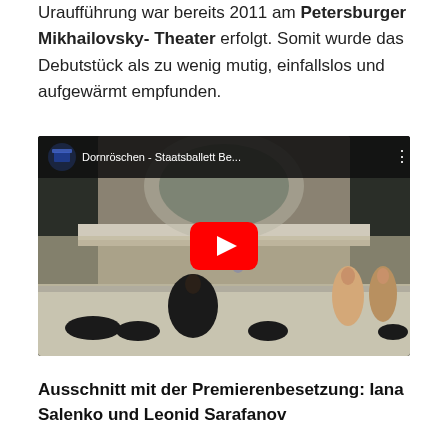Uraufführung war bereits 2011 am Petersburger Mikhailovsky- Theater erfolgt. Somit wurde das Debutstück als zu wenig mutig, einfallslos und aufgewärmt empfunden.
[Figure (screenshot): YouTube video embed showing a ballet performance (Dornröschen - Staatsballett Be...) with a red play button overlay. The video thumbnail shows performers in elaborate costumes on a grand stage.]
Ausschnitt mit der Premierenbesetzung: Iana Salenko und Leonid Sarafanov